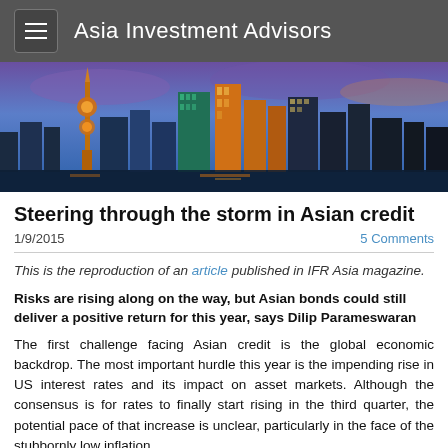Asia Investment Advisors
[Figure (photo): Panoramic photo of an Asian city skyline at dusk/night with illuminated skyscrapers against a purple and blue sky]
Steering through the storm in Asian credit
1/9/2015   5 Comments
This is the reproduction of an article published in IFR Asia magazine.
Risks are rising along on the way, but Asian bonds could still deliver a positive return for this year, says Dilip Parameswaran
The first challenge facing Asian credit is the global economic backdrop. The most important hurdle this year is the impending rise in US interest rates and its impact on asset markets. Although the consensus is for rates to finally start rising in the third quarter, the potential pace of that increase is unclear, particularly in the face of the stubbornly low inflation.